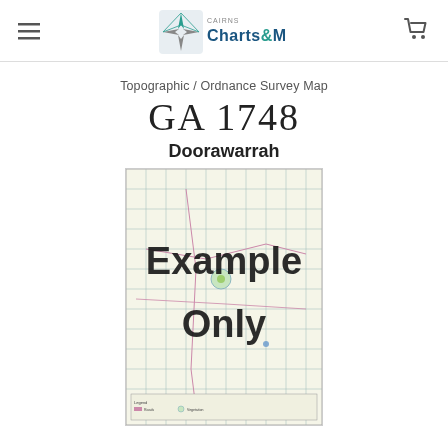Cairns Charts & Maps
Topographic / Ordnance Survey Map
GA 1748
Doorawarrah
[Figure (map): Topographic/Ordnance Survey Map preview image with 'Example Only' watermark overlaid in large black bold text. The map shows a grid-based topographic survey map of Doorawarrah region.]